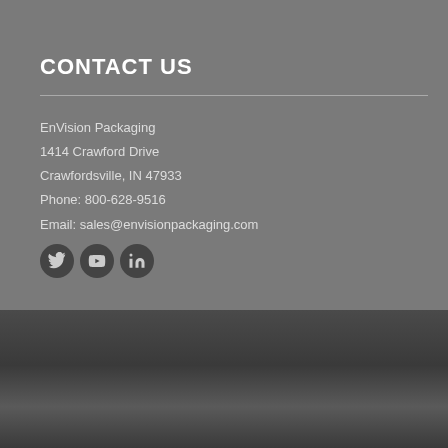CONTACT US
EnVision Packaging
1414 Crawford Drive
Crawfordsville, IN 47933
Phone: 800-628-9516
Email: sales@envisionpackaging.com
[Figure (illustration): Three circular social media icons: Twitter, YouTube, LinkedIn]
Copyright 2019 – EnVision Packaging | Designed By Grow Socially
↑ top
Sitemap   Blog